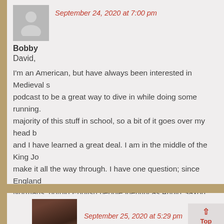September 24, 2020 at 7:00 pm
Bobby
David,
I'm an American, but have always been interested in Medieval s... podcast to be a great way to dive in while doing some running. majority of this stuff in school, so a bit of it goes over my head and I have learned a great deal. I am in the middle of the King Jo... make it all the way through. I have one question; since England Normans, do/did English people identify as Anglo Saxon, Frenc... different?
Reply
September 25, 2020 at 5:29 pm
Top